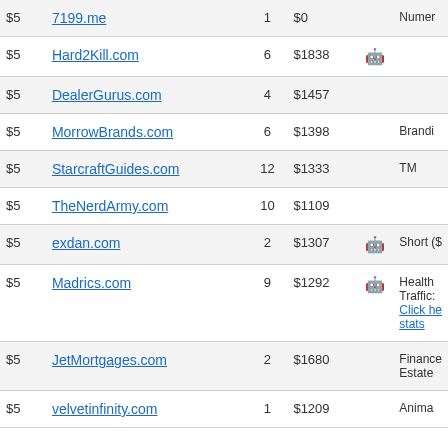| Price | Domain | Bids | Amount | Icon | Notes |
| --- | --- | --- | --- | --- | --- |
| $5 | 7199.me | 1 | $0 |  | Numer |
| $5 | Hard2Kill.com | 6 | $1838 | 🤖 |  |
| $5 | DealerGurus.com | 4 | $1457 |  |  |
| $5 | MorrowBrands.com | 6 | $1398 |  | Brandi |
| $5 | StarcraftGuides.com | 12 | $1333 |  | TM |
| $5 | TheNerdArmy.com | 10 | $1109 |  |  |
| $5 | exdan.com | 2 | $1307 | 🤖 | Short ($ |
| $5 | Madrics.com | 9 | $1292 | 🤖 | Health Traffic: Click here stats |
| $5 | JetMortgages.com | 2 | $1680 |  | Finance Estate |
| $5 | velvetinfinity.com | 1 | $1209 |  | Anima |